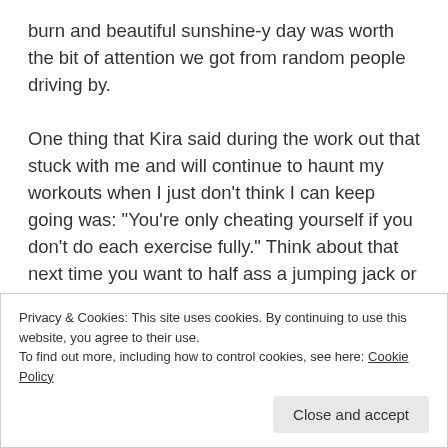burn and beautiful sunshine-y day was worth the bit of attention we got from random people driving by.
One thing that Kira said during the work out that stuck with me and will continue to haunt my workouts when I just don't think I can keep going was: “You’re only cheating yourself if you don’t do each exercise fully.” Think about that next time you want to half ass a jumping jack or a push up—it’s bad enough letting other people down in other parts of your life, but one thing
Privacy & Cookies: This site uses cookies. By continuing to use this website, you agree to their use.
To find out more, including how to control cookies, see here: Cookie Policy
Close and accept